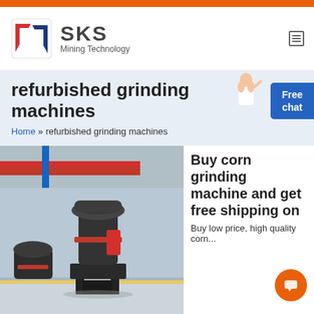SKS Mining Technology
refurbished grinding machines
Home » refurbished grinding machines
[Figure (photo): Industrial grinding machine in a factory/warehouse setting]
Buy corn grinding machine and get free shipping on
Buy low price, high quality corn...